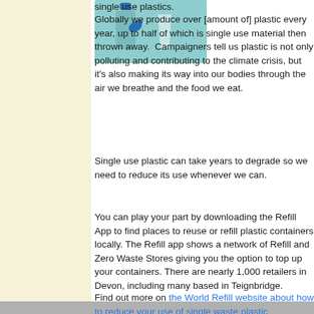[Figure (illustration): Teal/blue illustration of a reusable bottle and cup against a teal background, representing single use plastic alternatives]
single use plastics.

Globally we produce over [X amount of] plastic every year, up to half of which is single use material then thrown away. Campaigners tell us plastic is not only polluting and contributing to the climate crisis, but it's also making its way into our bodies through the air we breathe and the food we eat.
Single use plastic can take years to degrade so we need to reduce its use whenever we can.
You can play your part by downloading the Refill App to find places to reuse or refill plastic containers locally. The Refill app shows a network of Refill and Zero Waste Stores giving you the option to top up your containers. There are nearly 1,000 retailers in Devon, including many based in Teignbridge.
Find out more on the World Refill website about how to reduce your use of single waste plastic